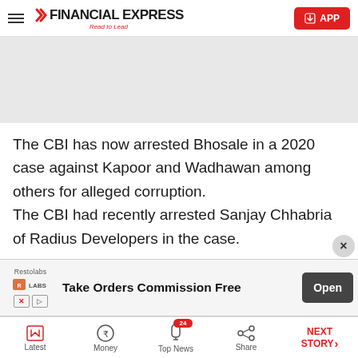FINANCIAL EXPRESS — Read to Lead
[Figure (other): Gray advertisement banner area]
The CBI has now arrested Bhosale in a 2020 case against Kapoor and Wadhawan among others for alleged corruption. The CBI had recently arrested Sanjay Chhabria of Radius Developers in the case.
[Figure (other): Restolabs advertisement banner: Take Orders Commission Free — Open button]
Latest | Money | Top News (24) | Share | NEXT STORY